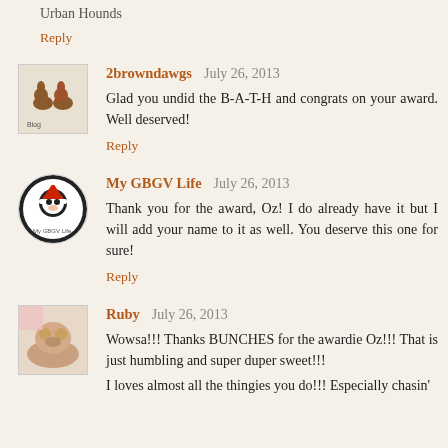Urban Hounds
Reply
2browndawgs  July 26, 2013
Glad you undid the B-A-T-H and congrats on your award. Well deserved!
Reply
My GBGV Life  July 26, 2013
Thank you for the award, Oz! I do already have it but I will add your name to it as well. You deserve this one for sure!
Reply
Ruby  July 26, 2013
Wowsa!!! Thanks BUNCHES for the awardie Oz!!! That is just humbling and super duper sweet!!!
I loves almost all the thingies you do!!! Especially chasin'